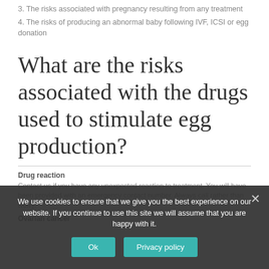3. The risks associated with pregnancy resulting from any treatment
4. The risks of producing an abnormal baby following IVF, ICSI or egg donation
What are the risks associated with the drugs used to stimulate egg production?
Drug reaction
Contact us if you have any unexpected reaction to treatment. You will have been provided with an emergency contact number. Always call rather than worry.
Ovarian cancer
We use cookies to ensure that we give you the best experience on our website. If you continue to use this site we will assume that you are happy with it.